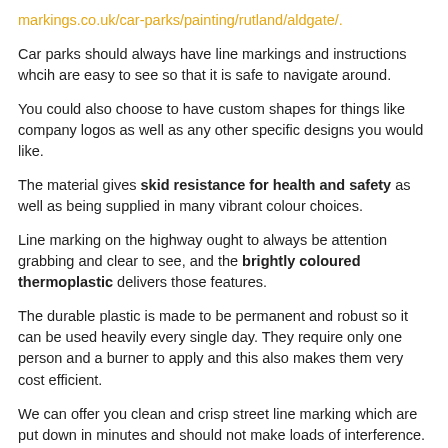markings.co.uk/car-parks/painting/rutland/aldgate/.
Car parks should always have line markings and instructions whcih are easy to see so that it is safe to navigate around.
You could also choose to have custom shapes for things like company logos as well as any other specific designs you would like.
The material gives skid resistance for health and safety as well as being supplied in many vibrant colour choices.
Line marking on the highway ought to always be attention grabbing and clear to see, and the brightly coloured thermoplastic delivers those features.
The durable plastic is made to be permanent and robust so it can be used heavily every single day. They require only one person and a burner to apply and this also makes them very cost efficient.
We can offer you clean and crisp street line marking which are put down in minutes and should not make loads of interference. We